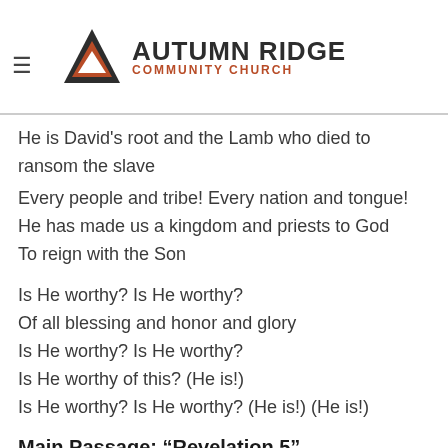[Figure (logo): Autumn Ridge Community Church logo with triangle/mountain icon]
He is David's root and the Lamb who died to ransom the slave
Every people and tribe! Every nation and tongue!
He has made us a kingdom and priests to God
To reign with the Son
Is He worthy? Is He worthy?
Of all blessing and honor and glory
Is He worthy? Is He worthy?
Is He worthy of this? (He is!)
Is He worthy? Is He worthy? (He is!) (He is!)
Main Passage: “Revelation 5”
Then I saw in the right hand of him who was seated on the throne a scroll written within and on the back, sealed with seven seals. And I saw a mighty angel proclaiming with